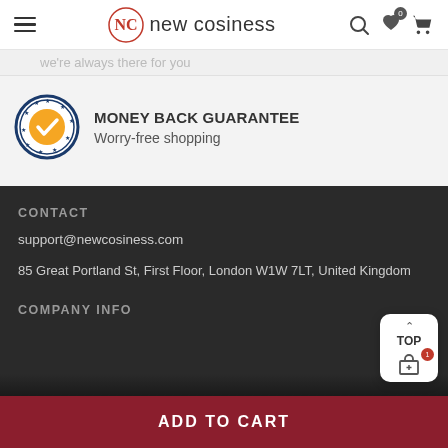new cosiness — navigation header with hamburger menu, logo, search, wishlist (0), cart icons
we're always there for you
MONEY BACK GUARANTEE
Worry-free shopping
CONTACT
support@newcosiness.com
85 Great Portland St, First Floor, London W1W 7LT, United Kingdom
COMPANY INFO
ADD TO CART